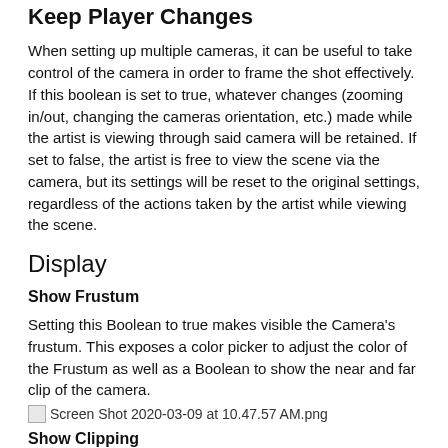Keep Player Changes
When setting up multiple cameras, it can be useful to take control of the camera in order to frame the shot effectively. If this boolean is set to true, whatever changes (zooming in/out, changing the cameras orientation, etc.) made while the artist is viewing through said camera will be retained. If set to false, the artist is free to view the scene via the camera, but its settings will be reset to the original settings, regardless of the actions taken by the artist while viewing the scene.
Display
Show Frustum
Setting this Boolean to true makes visible the Camera's frustum. This exposes a color picker to adjust the color of the Frustum as well as a Boolean to show the near and far clip of the camera.
[Figure (screenshot): Broken image placeholder: Screen Shot 2020-03-09 at 10.47.57 AM.png]
Show Clipping